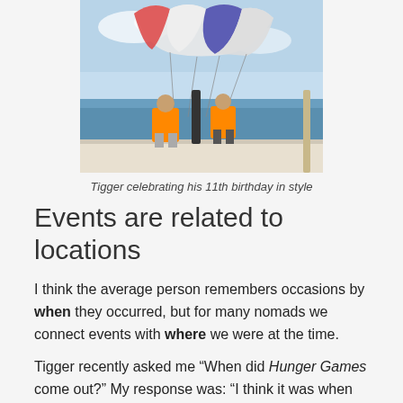[Figure (photo): Two people wearing orange life jackets on a boat with colorful parasailing parachutes above them, ocean in background]
Tigger celebrating his 11th birthday in style
Events are related to locations
I think the average person remembers occasions by when they occurred, but for many nomads we connect events with where we were at the time.
Tigger recently asked me “When did Hunger Games come out?” My response was: “I think it was when we were in Ecuador.” That’s more significant for us than